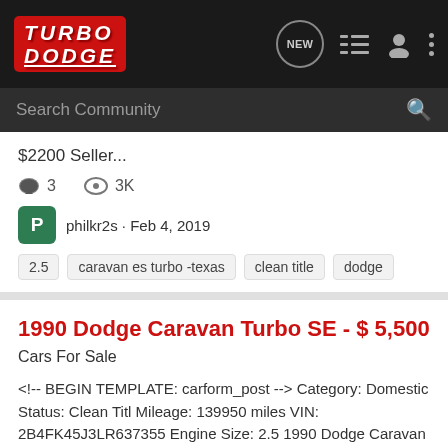TurboDodge navigation header with logo, NEW button, list icon, user icon, more icon
Search Community
$2200 Seller...
3 comments  3K views
philkr2s · Feb 4, 2019
2.5
caravan es turbo -texas
clean title
dodge
1990 Dodge Caravan Turbo SE - $ 5,500
Cars For Sale
<!-- BEGIN TEMPLATE: carform_post --> Category: Domestic Status: Clean Titl Mileage: 139950 miles VIN: 2B4FK45J3LR637355 Engine Size: 2.5 1990 Dodge Caravan Turbo SE - $5,500.00 Category: Domestic Status: Clean Title I have a 1990 Dodge Caravan Turbo SE for sale, in USA - Arizona...